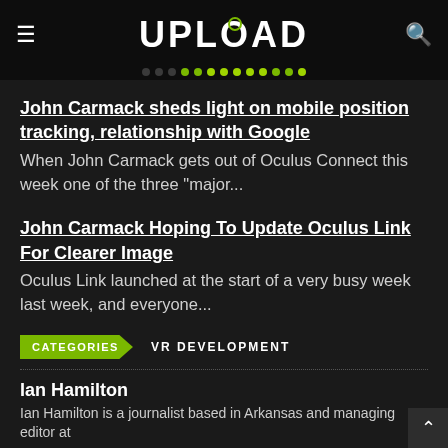UPLOAD
John Carmack sheds light on mobile position tracking, relationship with Google
When John Carmack gets out of Oculus Connect this week one of the three "major...
John Carmack Hoping To Update Oculus Link For Clearer Image
Oculus Link launched at the start of a very busy week last week, and everyone...
CATEGORIES  VR DEVELOPMENT
Ian Hamilton
Ian Hamilton is a journalist based in Arkansas and managing editor at